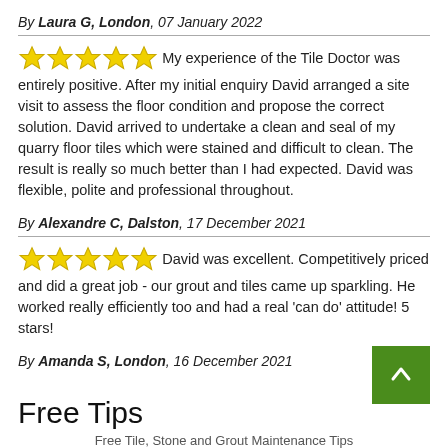By Laura G, London, 07 January 2022
My experience of the Tile Doctor was entirely positive. After my initial enquiry David arranged a site visit to assess the floor condition and propose the correct solution. David arrived to undertake a clean and seal of my quarry floor tiles which were stained and difficult to clean. The result is really so much better than I had expected. David was flexible, polite and professional throughout.
By Alexandre C, Dalston, 17 December 2021
David was excellent. Competitively priced and did a great job - our grout and tiles came up sparkling. He worked really efficiently too and had a real 'can do' attitude! 5 stars!
By Amanda S, London, 16 December 2021
Free Tips
Free Tile, Stone and Grout Maintenance Tips